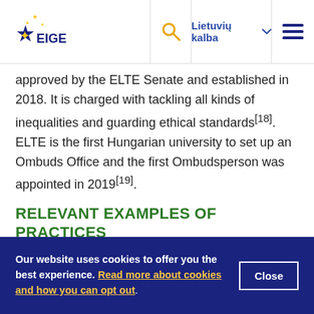EIGE | Lietuvių kalba
approved by the ELTE Senate and established in 2018. It is charged with tackling all kinds of inequalities and guarding ethical standards[18]. ELTE is the first Hungarian university to set up an Ombuds Office and the first Ombudsperson was appointed in 2019[19].
RELEVANT EXAMPLES OF PRACTICES
MTA age limit extension for women researchers
Our website uses cookies to offer you the best experience. Read more about cookies and how you can opt out.